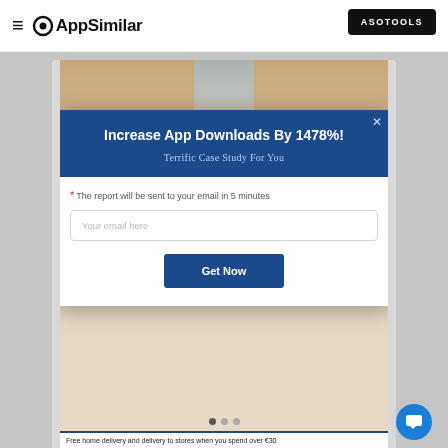AppSimilar | ASOTOOLS
[Figure (screenshot): Mobile app screenshot showing a fashion e-commerce app with a popup modal overlay. The modal has a blue header reading 'Increase App Downloads By 1478%!' and subtitle 'Terrific Case Study For You', followed by an email input field and a 'Get Now' button. The background shows a woman in floral clothing and white wide-leg pants with platform sandals. A blue chat bubble button appears at the bottom right.]
Increase App Downloads By 1478%!
Terrific Case Study For You
The report will be sent to your email in 5 minutes
Your email here
Get Now
Free home delivery and delivery to stores when you spend over €30